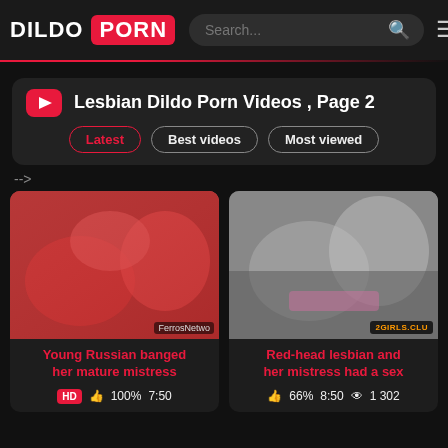DILDO PORN — Search bar — Menu
Lesbian Dildo Porn Videos , Page 2
Latest | Best videos | Most viewed
-->
[Figure (photo): Video thumbnail: two blonde women, one in red lingerie, on a couch. Watermark: FerrosNetwo]
Young Russian banged her mature mistress
HD  100%  7:50
[Figure (photo): Video thumbnail: two women on a bed, one with tattoos. Watermark: 2GIRLS.CLU]
Red-head lesbian and her mistress had a sex
66%  8:50  1 302